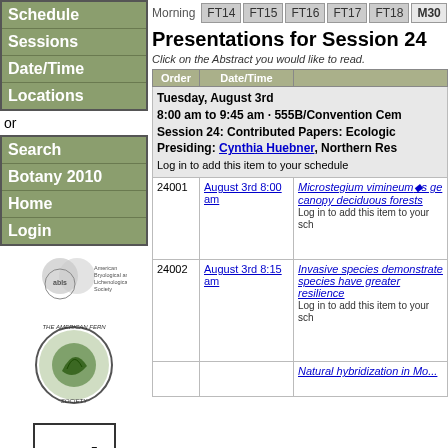Schedule
Sessions
Date/Time
Locations
or
Search
Botany 2010
Home
Login
[Figure (logo): American Bryological and Lichenological Society (ABLS) logo with overlapping circles]
[Figure (logo): The American Fern Society circular logo with green fern image]
[Figure (logo): ASPT (American Society of Plant Taxonomists) logo with plant illustration]
[Figure (logo): Three small logos in a row at the bottom]
Morning  FT14  FT15  FT16  FT17  FT18  M30
Presentations for Session 24
Click on the Abstract you would like to read.
| Order | Date/Time |  |
| --- | --- | --- |
|  | Tuesday, August 3rd
8:00 am to 9:45 am · 555B/Convention Cem
Session 24: Contributed Papers: Ecologic
Presiding: Cynthia Huebner, Northern Res
Log in to add this item to your schedule |  |
| 24001 | August 3rd 8:00 am | Microstegium vimineum's ge
canopy deciduous forests
Log in to add this item to your sch |
| 24002 | August 3rd 8:15 am | Invasive species demonstrate
species have greater resilience
Log in to add this item to your sch |
|  |  | Natural hybridization in Mo... |